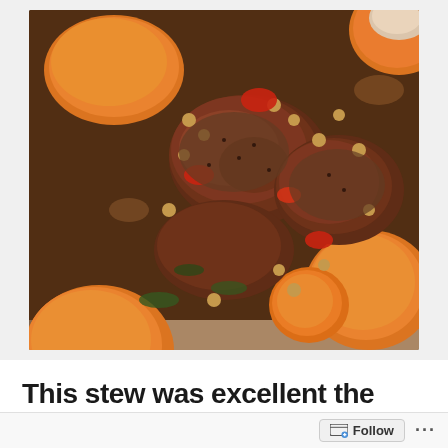[Figure (photo): Close-up photo of a hearty stew in a bowl containing large chunks of orange butternut squash, pieces of braised meat, chickpeas, red peppers, and other vegetables in a rich brown broth with spices and herbs.]
This stew was excellent the